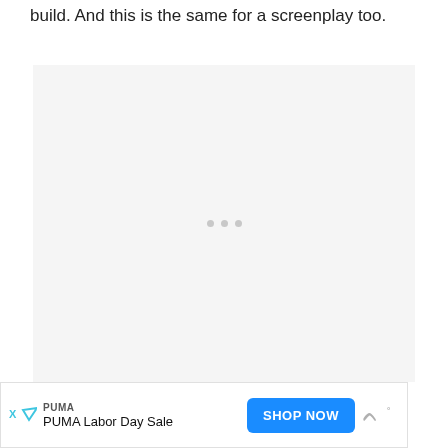build. And this is the same for a screenplay too.
[Figure (other): Large light gray placeholder box with three small gray dots centered near the middle of the box]
[Figure (other): Advertisement banner: PUMA brand, PUMA Labor Day Sale, SHOP NOW button in blue, ad icon markers, Whisk app icon on right]